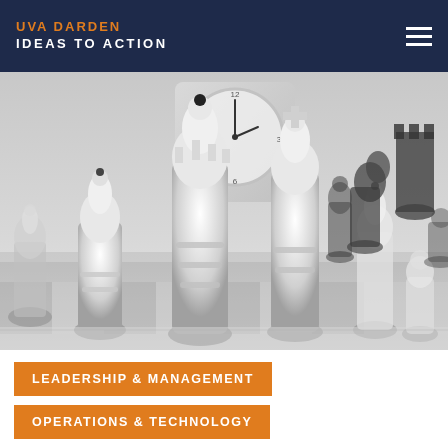UVA DARDEN IDEAS TO ACTION
[Figure (photo): Black and white photograph of chess pieces on a chessboard with a clock in the background. White pieces are prominent in the foreground, black pieces visible on the right side.]
LEADERSHIP & MANAGEMENT
OPERATIONS & TECHNOLOGY